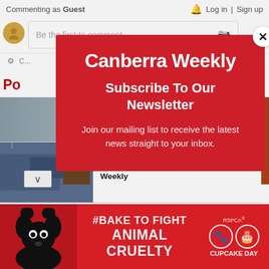Commenting as Guest | Log in | Sign up
Be the first to comment
Po...
[Figure (screenshot): Background webpage screenshot showing partial content behind modal]
Canberra Weekly
Subscribe To Our Newsletter
Join our mailing list to receive the latest news straight to your inbox.
Canberra Health Services receives three-year accreditation | Canberra Weekly
[Figure (photo): Bottom advertisement banner: black dog with text #BAKE TO FIGHT ANIMAL CRUELTY and RSPCA Cupcake Day logo]